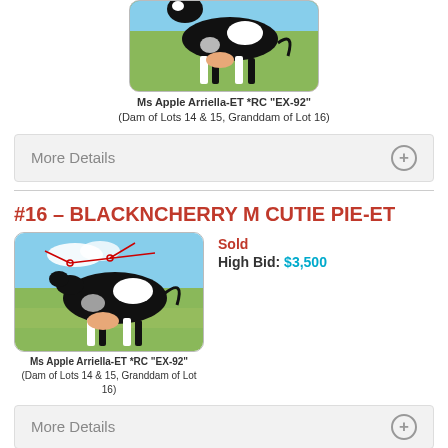[Figure (photo): Black and white Holstein dairy cow standing in a green field, partial top crop visible]
Ms Apple Arriella-ET *RC "EX-92"
(Dam of Lots 14 & 15, Granddam of Lot 16)
More Details
#16 – BLACKNCHERRY M CUTIE PIE-ET
[Figure (photo): Black and white Holstein dairy cow standing in a field with blue sky background, with red annotation lines drawn on image]
Ms Apple Arriella-ET *RC "EX-92"
(Dam of Lots 14 & 15, Granddam of Lot 16)
Sold
High Bid: $3,500
More Details